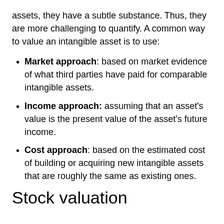assets, they have a subtle substance. Thus, they are more challenging to quantify. A common way to value an intangible asset is to use:
Market approach: based on market evidence of what third parties have paid for comparable intangible assets.
Income approach: assuming that an asset's value is the present value of the asset's future income.
Cost approach: based on the estimated cost of building or acquiring new intangible assets that are roughly the same as existing ones.
Stock valuation